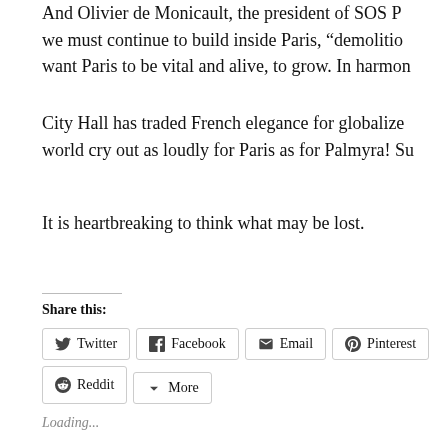And Olivier de Monicault, the president of SOS P... we must continue to build inside Paris, “demolitio... want Paris to be vital and alive, to grow. In harmon...
City Hall has traded French elegance for globalize... world cry out as loudly for Paris as for Palmyra! Su...
It is heartbreaking to think what may be lost.
Share this:
Twitter Facebook Email Pinterest Reddit More
Loading...